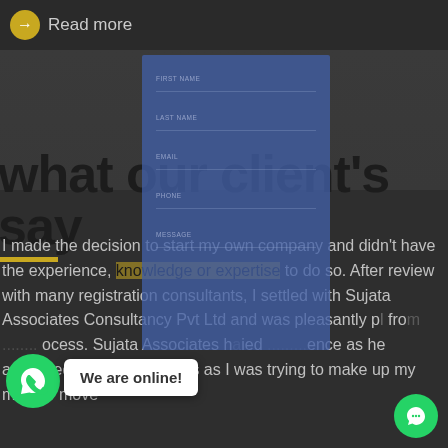→ Read more
what our client's say
[Figure (screenshot): A blue semi-transparent modal overlay showing form fields with labels, partially covering the section heading.]
I made the decision to start my own company and didn't have the experience, knowledge or expertise to do so. After review with many registration consultants, I settled with Sujata Associates Consultancy Pvt Ltd and was pleasantly p... fro... ...ocess. Sujata Associates h...ed ...ence as he answered all of my inquiries as I was trying to make up my mind to move
[Figure (illustration): WhatsApp green circle button with white phone icon at bottom left, and a 'We are online!' speech bubble popup next to it. A green chat bubble icon appears at bottom right.]